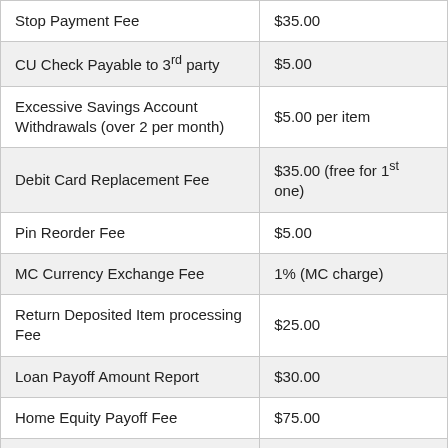| Fee Type | Amount |
| --- | --- |
| Stop Payment Fee | $35.00 |
| CU Check Payable to 3rd party | $5.00 |
| Excessive Savings Account Withdrawals (over 2 per month) | $5.00 per item |
| Debit Card Replacement Fee | $35.00 (free for 1st one) |
| Pin Reorder Fee | $5.00 |
| MC Currency Exchange Fee | 1% (MC charge) |
| Return Deposited Item processing Fee | $25.00 |
| Loan Payoff Amount Report | $30.00 |
| Home Equity Payoff Fee | $75.00 |
| Levy On Account Fee | $100.00 |
| Co-signer Fee | $10.00 |